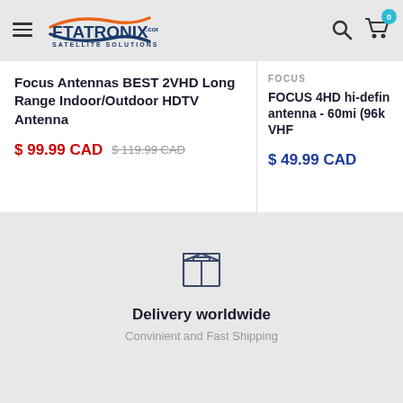FTATRONIX.com SATELLITE SOLUTIONS
Focus Antennas BEST 2VHD Long Range Indoor/Outdoor HDTV Antenna
$ 99.99 CAD  $ 119.99 CAD
FOCUS
FOCUS 4HD hi-defin antenna - 60mi (96k VHF
$ 49.99 CAD
[Figure (illustration): Box/package delivery icon]
Delivery worldwide
Convinient and Fast Shipping